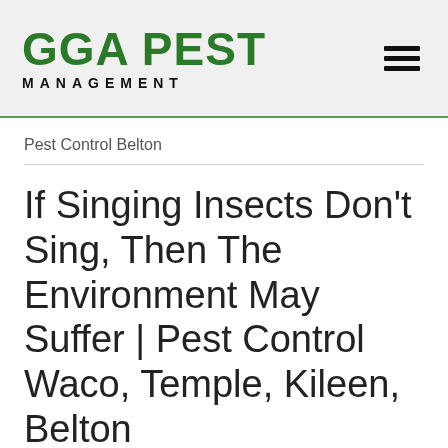GGA PEST MANAGEMENT
Pest Control Belton
If Singing Insects Don't Sing, Then The Environment May Suffer | Pest Control Waco, Temple, Kileen, Belton
August 21, 2017
If Singing Insects Don't Sing, Then The Environment